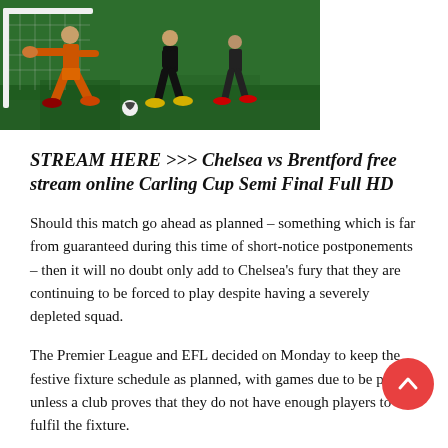[Figure (photo): Soccer match action photo showing goalkeeper in orange kit diving/stretching near goalpost on green pitch, with outfield players in dark kit running]
STREAM HERE >>> Chelsea vs Brentford free stream online Carling Cup Semi Final Full HD
Should this match go ahead as planned – something which is far from guaranteed during this time of short-notice postponements – then it will no doubt only add to Chelsea's fury that they are continuing to be forced to play despite having a severely depleted squad.
The Premier League and EFL decided on Monday to keep the festive fixture schedule as planned, with games due to be played unless a club proves that they do not have enough players to fulfil the fixture.
Chelsea felt as though they met that threshold at the